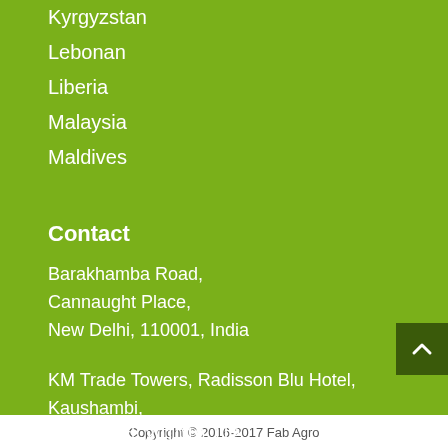Kyrgyzstan
Lebonan
Liberia
Malaysia
Maldives
Contact
Barakhamba Road,
Cannaught Place,
New Delhi, 110001, India
KM Trade Towers, Radisson Blu Hotel, Kaushambi,
Ghaziabad, 201010, UP
Copyright © 2016-2017 Fab Agro